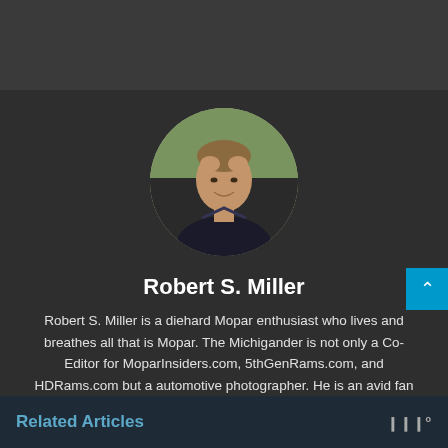[Figure (photo): Dark header image bar at top of page]
[Figure (photo): Circular profile photo of Robert S. Miller, a man with short hair smiling, with blurred outdoor background]
Robert S. Miller
Robert S. Miller is a diehard Mopar enthusiast who lives and breathes all that is Mopar. The Michigander is not only a Co-Editor for MoparInsiders.com, 5thGenRams.com, and HDRams.com but a automotive photographer. He is an avid fan of off shore powerboat racing, which he travels the country to take part in.
Related Articles